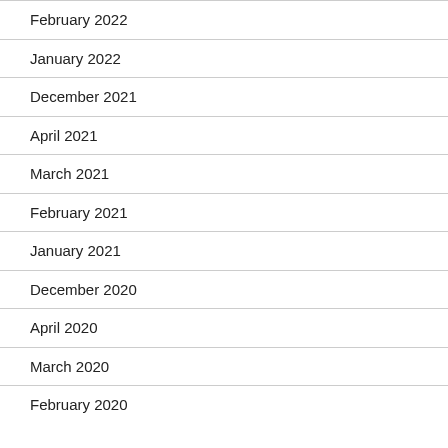February 2022
January 2022
December 2021
April 2021
March 2021
February 2021
January 2021
December 2020
April 2020
March 2020
February 2020